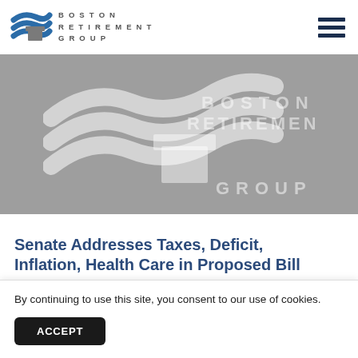Boston Retirement Group — navigation header with logo and hamburger menu
[Figure (logo): Boston Retirement Group watermark logo on gray banner background]
Senate Addresses Taxes, Deficit, Inflation, Health Care in Proposed Bill
By continuing to use this site, you consent to our use of cookies.
ACCEPT